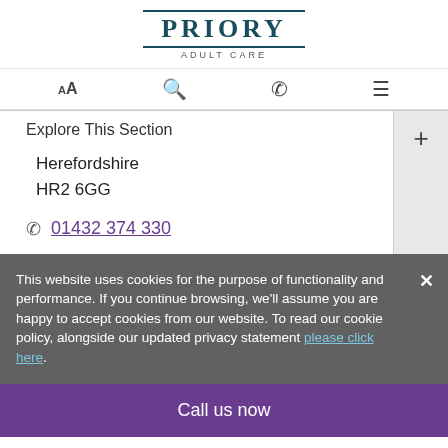PRIORY ADULT CARE
Explore This Section
Herefordshire
HR2 6GG
01432 374 330
This website uses cookies for the purpose of functionality and performance. If you continue browsing, we'll assume you are happy to accept cookies from our website. To read our cookie policy, alongside our updated privacy statement please click here.
Call us now